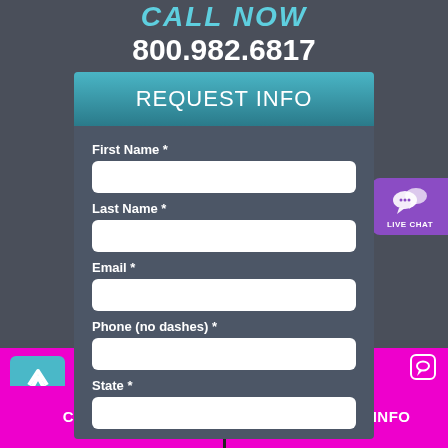CALL NOW
800.982.6817
REQUEST INFO
First Name *
Last Name *
Email *
Phone (no dashes) *
State *
[Figure (infographic): Live Chat button with chat bubble icons and LIVE CHAT label on purple background]
Our agents are not avail...
CLICK TO CALL
REQUEST INFO